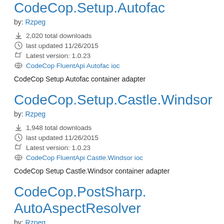CodeCop.Setup.Autofac
by: Rzpeg
2,020 total downloads
last updated 11/26/2015
Latest version: 1.0.23
CodeCop FluentApi Autofac ioc
CodeCop Setup Autofac container adapter
CodeCop.Setup.Castle.Windsor
by: Rzpeg
1,948 total downloads
last updated 11/26/2015
Latest version: 1.0.23
CodeCop FluentApi Castle.Windsor ioc
CodeCop Setup Castle.Windsor container adapter
CodeCop.PostSharp.AutoAspectResolver
by: Rzpeg